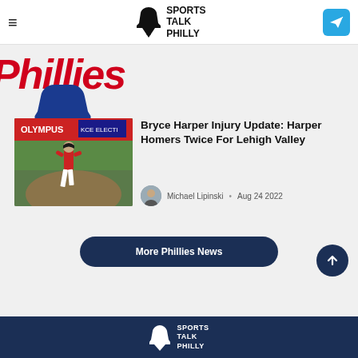Sports Talk Philly
[Figure (logo): Phillies logo partially visible at top left]
[Figure (photo): Bryce Harper running bases at minor league game, Olympus signage in background]
Bryce Harper Injury Update: Harper Homers Twice For Lehigh Valley
Michael Lipinski • Aug 24 2022
More Phillies News
Sports Talk Philly footer logo